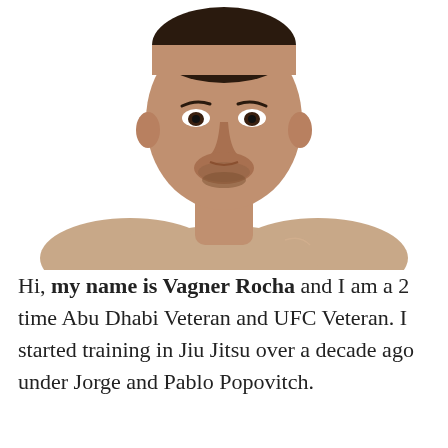[Figure (photo): Portrait photo of Vagner Rocha, a male MMA fighter with short dark hair and stubble, shirtless, looking directly at camera against a white background.]
Hi, my name is Vagner Rocha and I am a 2 time Abu Dhabi Veteran and UFC Veteran. I started training in Jiu Jitsu over a decade ago under Jorge and Pablo Popovitch.